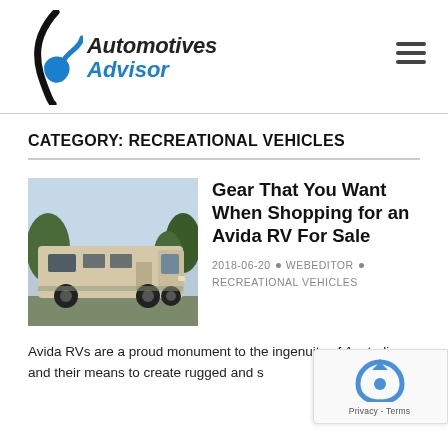Automotives Advisor
CATEGORY: RECREATIONAL VEHICLES
[Figure (photo): A large motorhome/RV (Avida brand) parked outdoors, beige and white colored, with trees in background]
Gear That You Want When Shopping for an Avida RV For Sale
2018-06-20 · WEBEDITOR · RECREATIONAL VEHICLES
Avida RVs are a proud monument to the ingenuity of Australians, and their means to create rugged and sturdy autom [...]